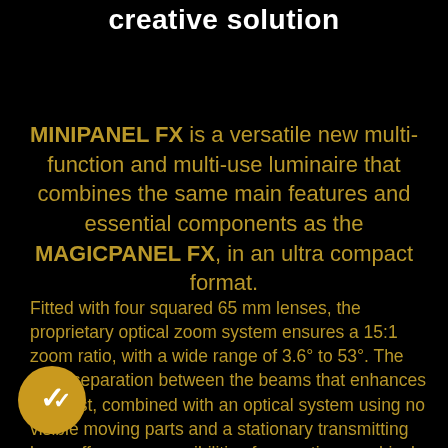creative solution
MINIPANEL FX is a versatile new multi-function and multi-use luminaire that combines the same main features and essential components as the MAGICPANEL FX, in an ultra compact format.
Fitted with four squared 65 mm lenses, the proprietary optical zoom system ensures a 15:1 zoom ratio, with a wide range of 3.6° to 53°. The crisp separation between the beams that enhances contrast, combined with an optical system using no visible moving parts and a stationary transmitting lens, offers new possibilities for creating graphical effects. Effects capabilities can be combined with beam, wash or matrix applications to produce superb results whether performing in front of the audience.
[Figure (illustration): Gold circular badge with double checkmark icon]